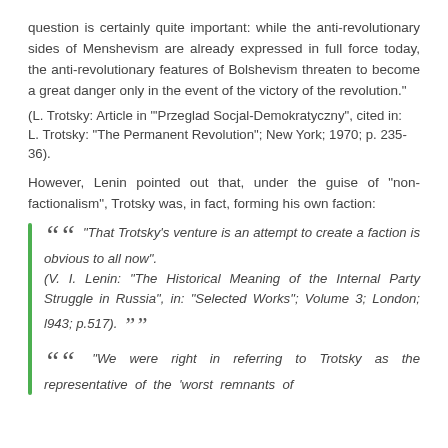question is certainly quite important: while the anti-revolutionary sides of Menshevism are already expressed in full force today, the anti-revolutionary features of Bolshevism threaten to become a great danger only in the event of the victory of the revolution."
(L. Trotsky: Article in "'Przeglad Socjal-Demokratyczny", cited in: L. Trotsky: "The Permanent Revolution"; New York; 1970; p. 235-36).
However, Lenin pointed out that, under the guise of "non-factionalism", Trotsky was, in fact, forming his own faction:
“That Trotsky’s venture is an attempt to create a faction is obvious to all now”. (V. I. Lenin: "The Historical Meaning of the Internal Party Struggle in Russia", in: "Selected Works"; Volume 3; London; l943; p.517).
“We were right in referring to Trotsky as the representative of the 'worst remnants of